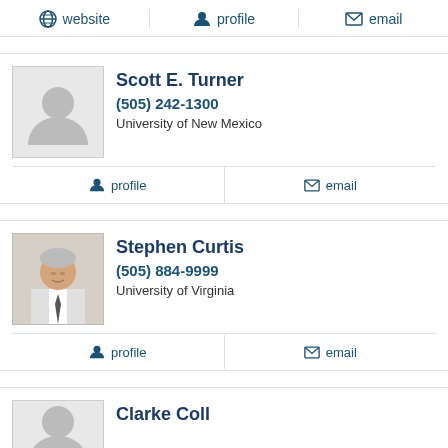website  profile  email
Scott E. Turner
(505) 242-1300
University of New Mexico
profile  email
Stephen Curtis
(505) 884-9999
University of Virginia
profile  email
Clarke Coll